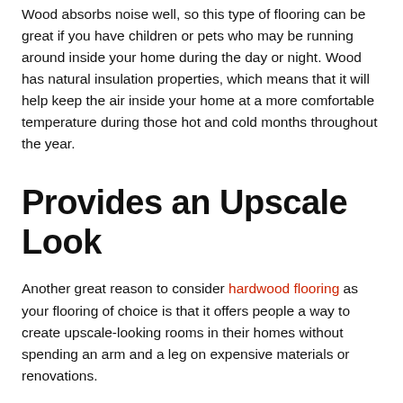Wood absorbs noise well, so this type of flooring can be great if you have children or pets who may be running around inside your home during the day or night. Wood has natural insulation properties, which means that it will help keep the air inside your home at a more comfortable temperature during those hot and cold months throughout the year.
Provides an Upscale Look
Another great reason to consider hardwood flooring as your flooring of choice is that it offers people a way to create upscale-looking rooms in their homes without spending an arm and a leg on expensive materials or renovations.